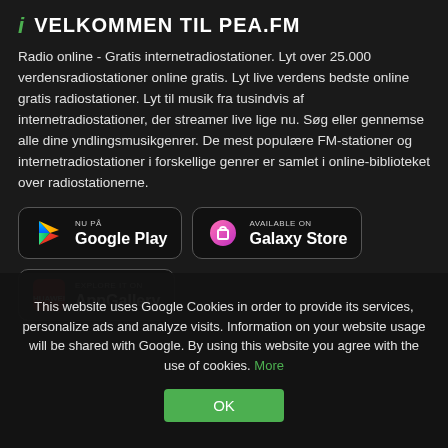i VELKOMMEN TIL PEA.FM
Radio online - Gratis internetradiostationer. Lyt over 25.000 verdensradiostationer online gratis. Lyt live verdens bedste online gratis radiostationer. Lyt til musik fra tusindvis af internetradiostationer, der streamer live lige nu. Søg eller gennemse alle dine yndlingsmusikgenrer. De mest populære FM-stationer og internetradiostationer i forskellige genrer er samlet i online-biblioteket over radiostationerne.
[Figure (screenshot): Google Play store button]
[Figure (screenshot): Samsung Galaxy Store button]
[Figure (screenshot): Huawei AppGallery button]
This website uses Google Cookies in order to provide its services, personalize ads and analyze visits. Information on your website usage will be shared with Google. By using this website you agree with the use of cookies. More
OK